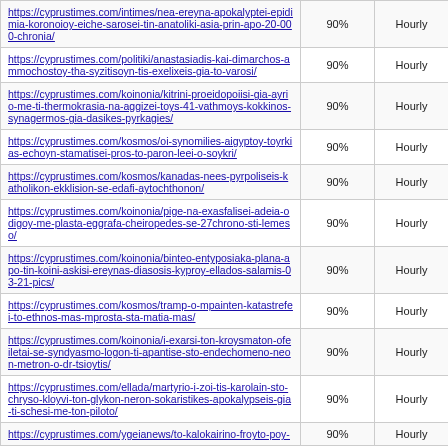| URL | 90% | Hourly |
| --- | --- | --- |
| https://cyprustimes.com/intimes/nea-ereyna-apokalyptei-epidimia-koronoioy-eiche-sarosei-tin-anatoliki-asia-prin-apo-20-000-chronia/ | 90% | Hourly |
| https://cyprustimes.com/politiki/anastasiadis-kai-dimarchos-ammochostoy-tha-syzitisoyn-tis-exelixeis-gia-to-varosi/ | 90% | Hourly |
| https://cyprustimes.com/koinonia/kitrini-proeidopoiisi-gia-ayrio-me-ti-thermokrasia-na-aggizei-toys-41-vathmoys-kokkinos-synagermos-gia-dasikes-pyrkagies/ | 90% | Hourly |
| https://cyprustimes.com/kosmos/oi-synomilies-aigyptoy-toyrkias-echoyn-stamatisei-pros-to-paron-leei-o-soykri/ | 90% | Hourly |
| https://cyprustimes.com/kosmos/kanadas-nees-pyrpoliseis-katholikon-ekklision-se-edafi-aytochthonon/ | 90% | Hourly |
| https://cyprustimes.com/koinonia/pige-na-exasfalisei-adeia-odigoy-me-plasta-eggrafa-cheiropedes-se-27chrono-sti-lemeso/ | 90% | Hourly |
| https://cyprustimes.com/koinonia/binteo-entyposiaka-plana-apo-tin-koini-askisi-ereynas-diasosis-kyproy-ellados-salamis-03-21-pics/ | 90% | Hourly |
| https://cyprustimes.com/kosmos/tramp-o-mpainten-katastrefei-to-ethnos-mas-mprosta-sta-matia-mas/ | 90% | Hourly |
| https://cyprustimes.com/koinonia/i-exarsi-ton-kroysmaton-ofeiletai-se-syndyasmo-logon-ti-apantise-sto-endechomeno-neon-metron-o-dr-tsioytis/ | 90% | Hourly |
| https://cyprustimes.com/ellada/martyrio-i-zoi-tis-karolain-sto-chryso-kloyvi-ton-glykon-neron-sokaristikes-apokalypseis-gia-ti-schesi-me-ton-piloto/ | 90% | Hourly |
| https://cyprustimes.com/ygeianews/to-kalokairino-froyto-poy-... | 90% | Hourly |